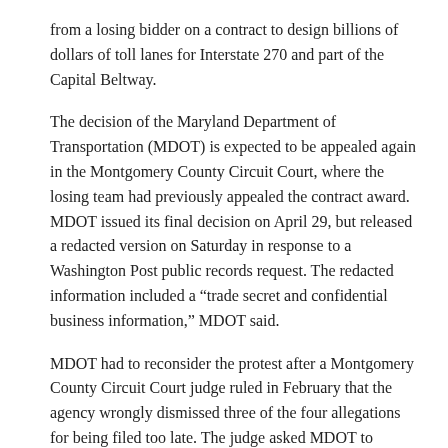from a losing bidder on a contract to design billions of dollars of toll lanes for Interstate 270 and part of the Capital Beltway.
The decision of the Maryland Department of Transportation (MDOT) is expected to be appealed again in the Montgomery County Circuit Court, where the losing team had previously appealed the contract award. MDOT issued its final decision on April 29, but released a redacted version on Saturday in response to a Washington Post public records request. The redacted information included a “trade secret and confidential business information,” MDOT said.
MDOT had to reconsider the protest after a Montgomery County Circuit Court judge ruled in February that the agency wrongly dismissed three of the four allegations for being filed too late. The judge asked MDOT to reconsider the claims on their merits, including whether the winning bid had assumed unrealistic construction costs that could result in massive construction delays and cost overruns.
Montgomery judge allows most protests against Maryland toll lane design bid to go ahead